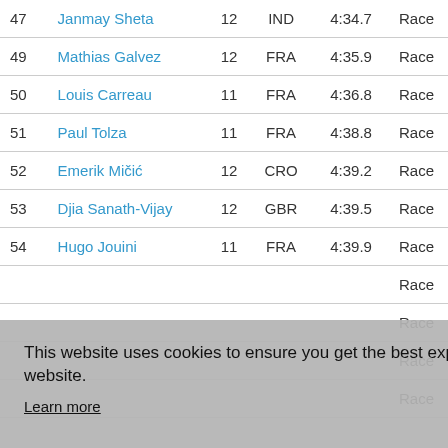| # | Name | Age | Nat | Time | Type |
| --- | --- | --- | --- | --- | --- |
| 47 | Janmay Sheta | 12 | IND | 4:34.7 | Race |
| 49 | Mathias Galvez | 12 | FRA | 4:35.9 | Race |
| 50 | Louis Carreau | 11 | FRA | 4:36.8 | Race |
| 51 | Paul Tolza | 11 | FRA | 4:38.8 | Race |
| 52 | Emerik Mičić | 12 | CRO | 4:39.2 | Race |
| 53 | Djia Sanath-Vijay | 12 | GBR | 4:39.5 | Race |
| 54 | Hugo Jouini | 11 | FRA | 4:39.9 | Race |
|  |  |  |  |  | Race |
|  |  |  |  |  | Race |
|  |  |  |  |  | Race |
|  |  |  |  |  | Race |
This website uses cookies to ensure you get the best experience on our website.
Learn more
Got it!